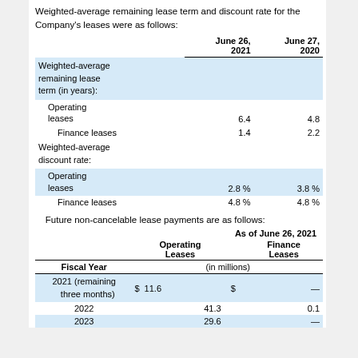Weighted-average remaining lease term and discount rate for the Company's leases were as follows:
|  | June 26, 2021 | June 27, 2020 |
| --- | --- | --- |
| Weighted-average remaining lease term (in years): |  |  |
| Operating leases | 6.4 | 4.8 |
| Finance leases | 1.4 | 2.2 |
| Weighted-average discount rate: |  |  |
| Operating leases | 2.8 % | 3.8 % |
| Finance leases | 4.8 % | 4.8 % |
Future non-cancelable lease payments are as follows:
| Fiscal Year | Operating Leases | Finance Leases |
| --- | --- | --- |
| 2021 (remaining three months) | $ 11.6 | $ — |
| 2022 | 41.3 | 0.1 |
| 2023 | 29.6 | — |